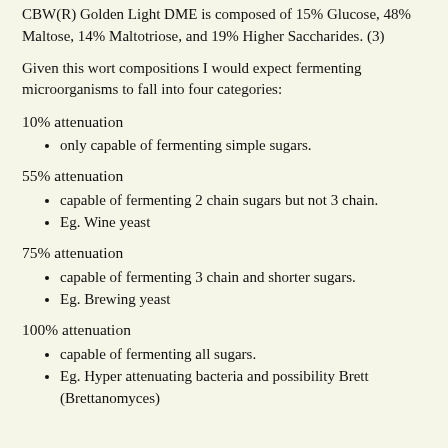CBW(R) Golden Light DME is composed of 15% Glucose, 48% Maltose, 14% Maltotriose, and 19% Higher Saccharides. (3)
Given this wort compositions I would expect fermenting microorganisms to fall into four categories:
10% attenuation
only capable of fermenting simple sugars.
55% attenuation
capable of fermenting 2 chain sugars but not 3 chain.
Eg. Wine yeast
75% attenuation
capable of fermenting 3 chain and shorter sugars.
Eg. Brewing yeast
100% attenuation
capable of fermenting all sugars.
Eg. Hyper attenuating bacteria and possibility Brett (Brettanomyces)